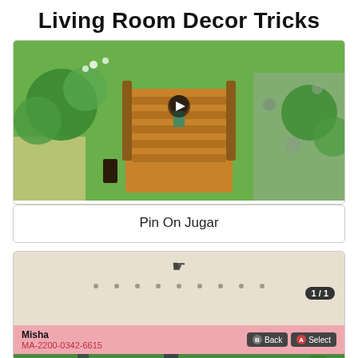Living Room Decor Tricks
[Figure (screenshot): Animal Crossing: New Horizons game screenshot showing a character standing on a wooden bridge surrounded by green trees and stone paths, viewed from above]
Pin On Jugar
[Figure (screenshot): Animal Crossing: New Horizons design sharing screen showing creator Misha (MA-2200-0342-6615) with a game island viewed from above, featuring paths, green areas and a close button overlay]
Animal Crossing Design Code Selections Road ...